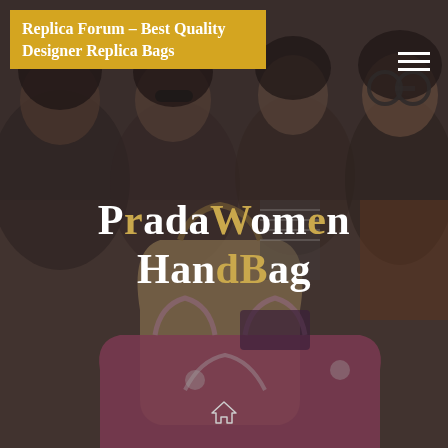Replica Forum – Best Quality Designer Replica Bags
Prada Women Handbag
[Figure (photo): Background photo of four women shopping and laughing, holding designer bags including a large pink shopping bag and a tan handbag, sitting in what appears to be a vehicle or lounge setting. Dark overlay applied.]